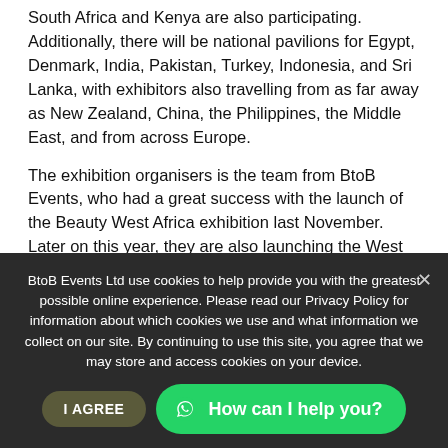South Africa and Kenya are also participating. Additionally, there will be national pavilions for Egypt, Denmark, India, Pakistan, Turkey, Indonesia, and Sri Lanka, with exhibitors also travelling from as far away as New Zealand, China, the Philippines, the Middle East, and from across Europe.
The exhibition organisers is the team from BtoB Events, who had a great success with the launch of the Beauty West Africa exhibition last November. Later on this year, they are also launching the West Africa Automotive Show which is also in Lagos. BtoB Events' Managing Director Jamie Hill remark: "Food and Beverage West Africa is the premier exhibition dedicated to West Africa's food and
BtoB Events Ltd use cookies to help provide you with the greatest possible online experience. Please read our Privacy Policy for information about which cookies we use and what information we collect on our site. By continuing to use this site, you agree that we may store and access cookies on your device.
showcasing Nigerian small and medium enterprises (SMEs). "This